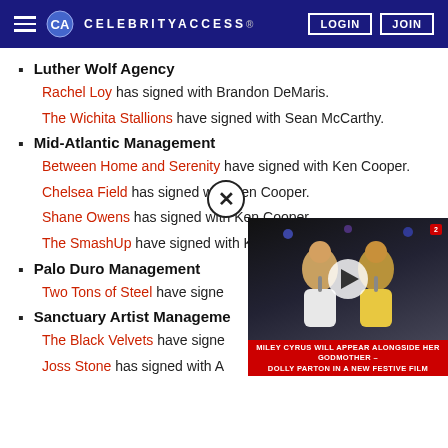CELEBRITYACCESS | LOGIN | JOIN
Luther Wolf Agency
Rachel Loy has signed with Brandon DeMaris.
The Wichita Stallions have signed with Sean McCarthy.
Mid-Atlantic Management
Between Home and Serenity have signed with Ken Cooper.
Chelsea Field has signed with Ken Cooper.
Shane Owens has signed with Ken Cooper.
The SmashUp have signed with Ken Cooper.
Palo Duro Management
Two Tons of Steel have signe[d...]
Sanctuary Artist Management
The Black Velvets have signe[d...]
Joss Stone has signed with A[...]
[Figure (screenshot): Video overlay showing two women performing on stage, with a red caption bar reading 'MILEY CYRUS WILL APPEAR ALONGSIDE HER GODMOTHER DOLLY PARTON IN A NEW FESTIVE FILM']